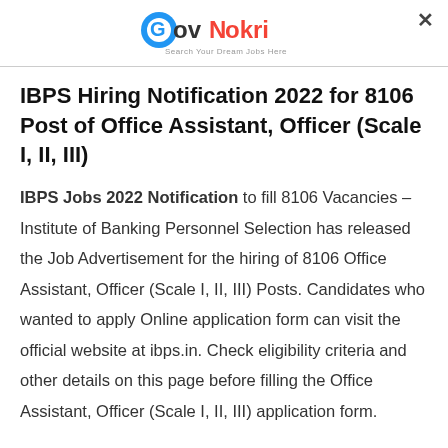[Figure (logo): GovNokri logo with tagline 'Search Your Dream Jobs Here']
IBPS Hiring Notification 2022 for 8106 Post of Office Assistant, Officer (Scale I, II, III)
IBPS Jobs 2022 Notification to fill 8106 Vacancies – Institute of Banking Personnel Selection has released the Job Advertisement for the hiring of 8106 Office Assistant, Officer (Scale I, II, III) Posts. Candidates who wanted to apply Online application form can visit the official website at ibps.in. Check eligibility criteria and other details on this page before filling the Office Assistant, Officer (Scale I, II, III) application form.